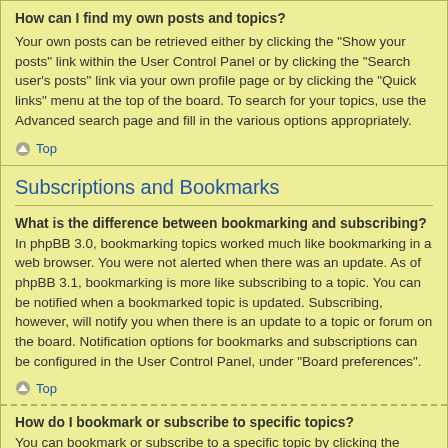How can I find my own posts and topics?
Your own posts can be retrieved either by clicking the "Show your posts" link within the User Control Panel or by clicking the "Search user's posts" link via your own profile page or by clicking the "Quick links" menu at the top of the board. To search for your topics, use the Advanced search page and fill in the various options appropriately.
Top
Subscriptions and Bookmarks
What is the difference between bookmarking and subscribing?
In phpBB 3.0, bookmarking topics worked much like bookmarking in a web browser. You were not alerted when there was an update. As of phpBB 3.1, bookmarking is more like subscribing to a topic. You can be notified when a bookmarked topic is updated. Subscribing, however, will notify you when there is an update to a topic or forum on the board. Notification options for bookmarks and subscriptions can be configured in the User Control Panel, under "Board preferences".
Top
How do I bookmark or subscribe to specific topics?
You can bookmark or subscribe to a specific topic by clicking the